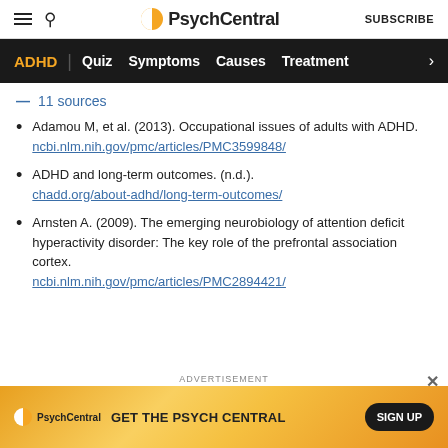PsychCentral — SUBSCRIBE
ADHD | Quiz  Symptoms  Causes  Treatment >
— 11 sources
Adamou M, et al. (2013). Occupational issues of adults with ADHD.
ncbi.nlm.nih.gov/pmc/articles/PMC3599848/
ADHD and long-term outcomes. (n.d.).
chadd.org/about-adhd/long-term-outcomes/
Arnsten A. (2009). The emerging neurobiology of attention deficit hyperactivity disorder: The key role of the prefrontal association cortex.
ncbi.nlm.nih.gov/pmc/articles/PMC2894421/
[Figure (screenshot): PsychCentral advertisement banner: GET THE PSYCH CENTRAL — SIGN UP button]